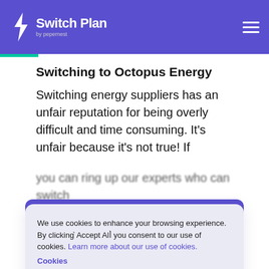Switch Plan by Pepemest
Switching to Octopus Energy
Switching energy suppliers has an unfair reputation for being overly difficult and time consuming. It's unfair because it's not true! If
We use cookies to enhance your browsing experience. By clicking 'Accept All' you consent to our use of cookies. Learn more about our use of cookies.
Cookies
DECLINE
ACCEPT
you can ring up our experts who can switch
0330 818 6224
Switching suppliers in Bredbury Green